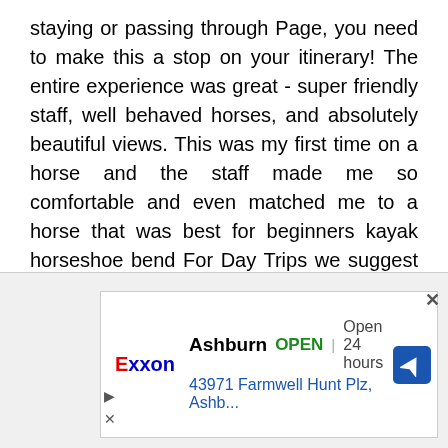staying or passing through Page, you need to make this a stop on your itinerary! The entire experience was great - super friendly staff, well behaved horses, and absolutely beautiful views. This was my first time on a horse and the staff made me so comfortable and even matched me to a horse that was best for beginners kayak horseshoe bend For Day Trips we suggest utilizing our backhaul service from the Parking Lot at Lee's Ferry to Petroglyph Beach just upstream of Horseshoe Bend, where folks can then spend the next 4-6 hours Kayak Horseshoe Bend and back to their awaiting car at Lee's Ferry Horseshoe Bend is a city in Fulton, Izard, and Sharp counties i
[Figure (other): An advertisement for Exxon gas station in Ashburn, showing it is OPEN 24 hours, located at 43971 Farmwell Hunt Plz, Ashb..., with a navigation icon. Includes a close (x) button and play/close controls.]